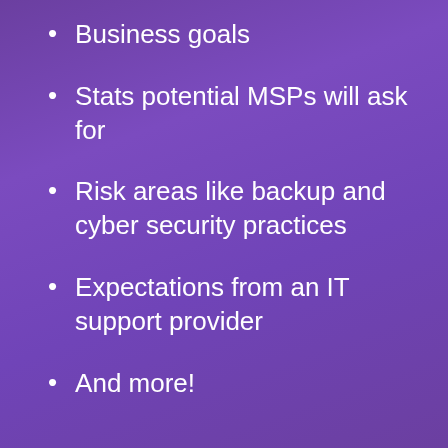Business goals
Stats potential MSPs will ask for
Risk areas like backup and cyber security practices
Expectations from an IT support provider
And more!